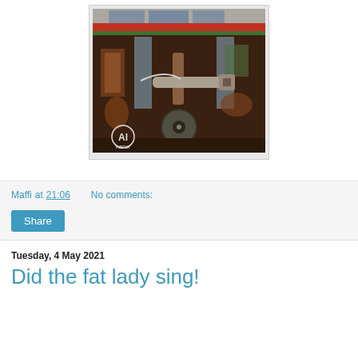[Figure (photo): A rusty, heavily corroded metal structure with pipes, a disc/wheel component, and deteriorated surfaces. An 'Al hanor' watermark logo appears in the bottom left corner. The scene appears to be industrial machinery or vehicle undercarriage in poor condition.]
Maffi at 21:06    No comments:
Share
Tuesday, 4 May 2021
Did the fat lady sing!